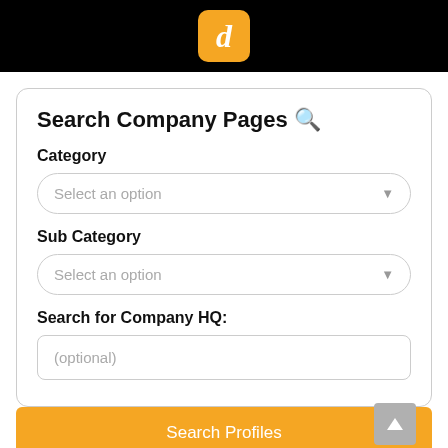[Figure (logo): Orange rounded square logo with a white italic letter d in the center, on a black header bar]
Search Company Pages 🔍
Category
Select an option
Sub Category
Select an option
Search for Company HQ:
(optional)
Search Profiles